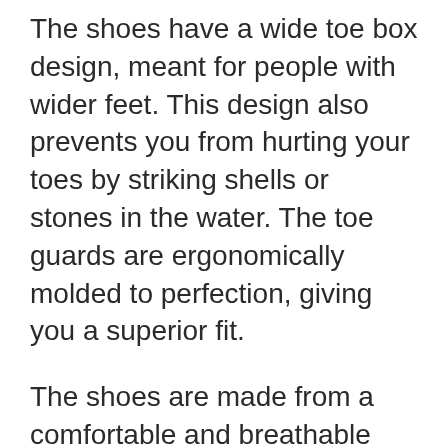The shoes have a wide toe box design, meant for people with wider feet. This design also prevents you from hurting your toes by striking shells or stones in the water. The toe guards are ergonomically molded to perfection, giving you a superior fit.
The shoes are made from a comfortable and breathable material, which is skin-friendly and gives your feet a cool and cozy environment.  They are bendable, which means that they can fold almost like a sock, thereby allowing you to dry them up very quickly.
The shoes use a drawstring mechanism instead of laces for tying up, which is good to have in a situation where you don't want